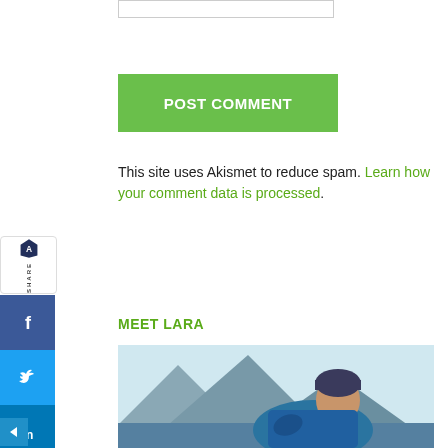[Figure (other): Input text box (empty form field)]
[Figure (other): Green POST COMMENT button]
This site uses Akismet to reduce spam. Learn how your comment data is processed.
MEET LARA
[Figure (photo): Photo of a person wearing a dark blue beanie and blue jacket, outdoors]
[Figure (other): Side share widget with Akismet logo, Facebook, Twitter, LinkedIn, Pinterest, Reddit social share buttons, and a collapse arrow]